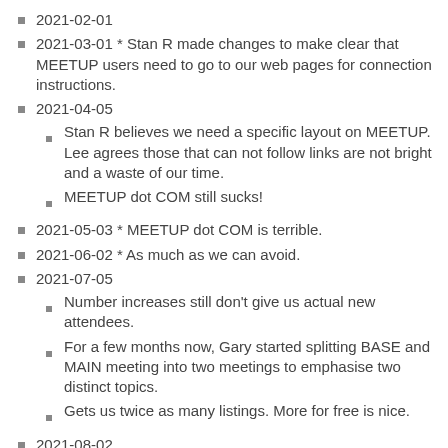2021-02-01
2021-03-01 * Stan R made changes to make clear that MEETUP users need to go to our web pages for connection instructions.
2021-04-05
Stan R believes we need a specific layout on MEETUP. Lee agrees those that can not follow links are not bright and a waste of our time.
MEETUP dot COM still sucks!
2021-05-03 * MEETUP dot COM is terrible.
2021-06-02 * As much as we can avoid.
2021-07-05
Number increases still don't give us actual new attendees.
For a few months now, Gary started splitting BASE and MAIN meeting into two meetings to emphasise two distinct topics.
Gets us twice as many listings. More for free is nice.
2021-08-02